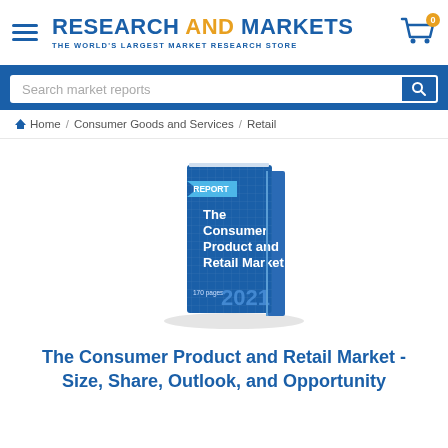RESEARCH AND MARKETS - THE WORLD'S LARGEST MARKET RESEARCH STORE
Search market reports
Home / Consumer Goods and Services / Retail
[Figure (illustration): 3D book cover titled 'The Consumer Product and Retail Market' with 'REPORT' label, '170 pages', '2021', blue cover with white text]
The Consumer Product and Retail Market - Size, Share, Outlook, and Opportunity